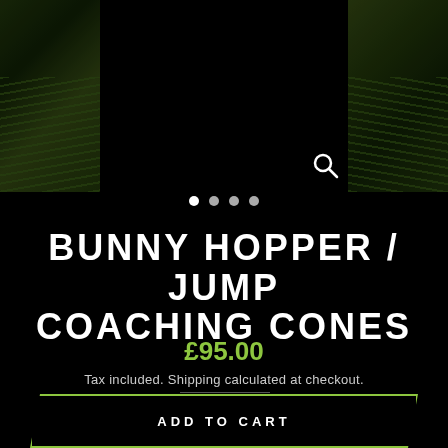[Figure (photo): Product image slider for Bunny Hopper / Jump Coaching Cones, showing dark black center area flanked by outdoor grass/field scene on left and right sides with a magnifier/zoom icon in the lower right of the image area. Four navigation dots below the image indicate a slideshow, with the first dot active (white) and three inactive (gray).]
BUNNY HOPPER / JUMP COACHING CONES
£95.00
Tax included. Shipping calculated at checkout.
ADD TO CART